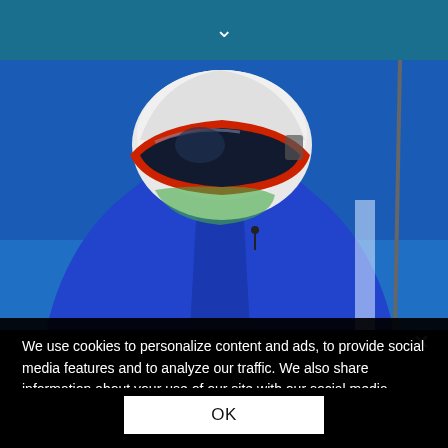▼
[Figure (photo): Skier viewed from below wearing a white helmet with red-rimmed ski goggles and blue jacket against a bright blue sky, with a cable visible on the right side.]
We use cookies to personalize content and ads, to provide social media features and to analyze our traffic. We also share information about your use of our site with our social media, advertising and analytics partners. By continuing to use our site you agree to our Privacy Policy and use of cookies. Privacy Policy
OK